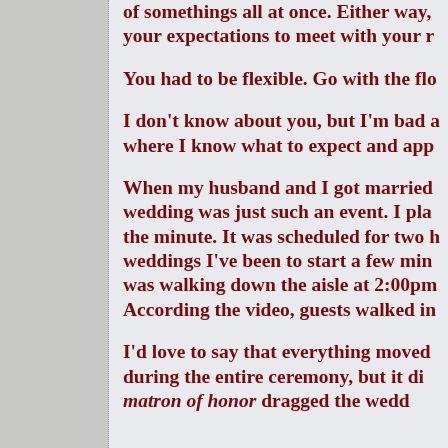of somethings all at once. Either way, your expectations to meet with your r
You had to be flexible. Go with the flo
I don't know about you, but I'm bad a where I know what to expect and app
When my husband and I got married wedding was just such an event. I pla the minute. It was scheduled for two h weddings I've been to start a few min was walking down the aisle at 2:00pm According the video, guests walked in
I'd love to say that everything moved during the entire ceremony, but it di matron of honor dragged the wedd